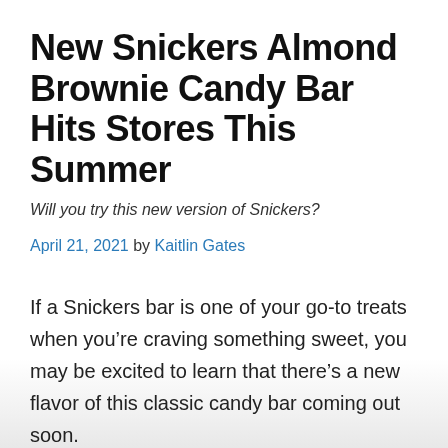New Snickers Almond Brownie Candy Bar Hits Stores This Summer
Will you try this new version of Snickers?
April 21, 2021 by Kaitlin Gates
If a Snickers bar is one of your go-to treats when you’re craving something sweet, you may be excited to learn that there’s a new flavor of this classic candy bar coming out soon.